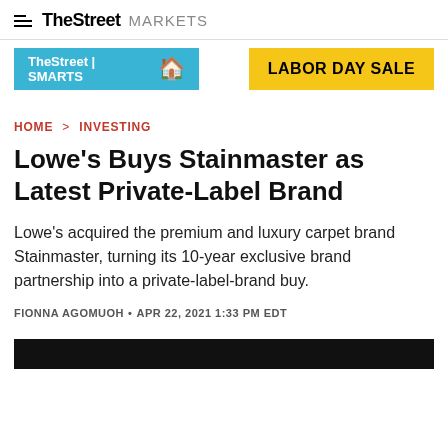TheStreet MARKETS
[Figure (infographic): TheStreet SMARTS banner ad (blue background) on the left and LABOR DAY SALE banner (yellow background) on the right]
HOME > INVESTING
Lowe's Buys Stainmaster as Latest Private-Label Brand
Lowe's acquired the premium and luxury carpet brand Stainmaster, turning its 10-year exclusive brand partnership into a private-label-brand buy.
FIONNA AGOMUOH • APR 22, 2021 1:33 PM EDT